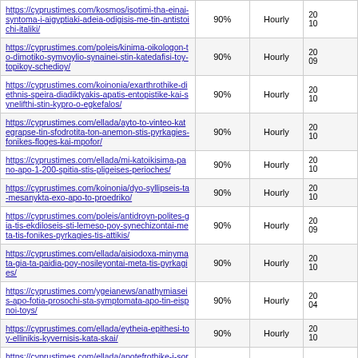| URL | Priority | Change Frequency | Last Modified |
| --- | --- | --- | --- |
| https://cyprustimes.com/kosmos/isotimi-tha-einai-syntoma-i-aigyptiaki-adeia-odigisis-me-tin-antistoichi-italiki/ | 90% | Hourly | 20...10... |
| https://cyprustimes.com/poleis/kinima-oikologon-to-dimotiko-symvoylio-synainei-stin-katedafisi-toy-topikoy-schedioy/ | 90% | Hourly | 20...09... |
| https://cyprustimes.com/koinonia/exarthrothike-diethnis-speira-diadiktyakis-apatis-entopistike-kai-synelifthi-stin-kypro-o-egkefalos/ | 90% | Hourly | 20...10... |
| https://cyprustimes.com/ellada/ayto-to-vinteo-kategrapse-tin-sfodrotita-ton-anemon-stis-pyrkagies-fonikes-floges-kai-mpofor/ | 90% | Hourly | 20...10... |
| https://cyprustimes.com/ellada/mi-katoikisima-pano-apo-1-200-spitia-stis-pligeises-perioches/ | 90% | Hourly | 20...10... |
| https://cyprustimes.com/koinonia/dyo-syllipseis-ta-mesanykta-exo-apo-to-proedriko/ | 90% | Hourly | 20...10... |
| https://cyprustimes.com/poleis/antidroyn-polites-gia-tis-ekdiloseis-sti-lemeso-poy-synechizontai-meta-tis-fonikes-pyrkagies-tis-attikis/ | 90% | Hourly | 20...09... |
| https://cyprustimes.com/ellada/aisiodoxa-minymata-gia-ta-paidia-poy-nosileyontai-meta-tis-pyrkagies/ | 90% | Hourly | 20...10... |
| https://cyprustimes.com/ygeianews/anathymiaseis-apo-fotia-prosochi-sta-symptomata-apo-tin-eispnoi-toys/ | 90% | Hourly | 20...04... |
| https://cyprustimes.com/ellada/eytheia-epithesi-toy-ellinikis-kyvernisis-kata-skai/ | 90% | Hourly | 20...10... |
| https://cyprustimes.com/ellada/apotefrothike-i-soros-toy-manoy-eleytherioy-se-mia-chora-poy-mporei-na-kaeis-zontanos-anagorevetai-na-kaeis-nekros-pic/ | 90% | Hourly | 20...10... |